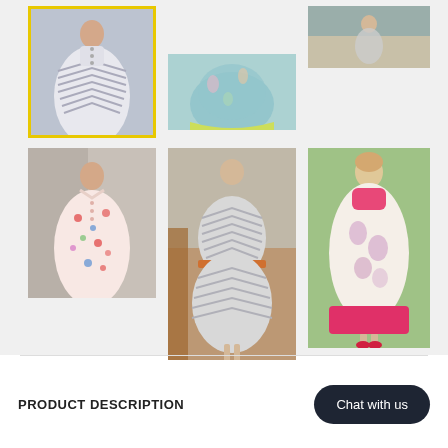[Figure (photo): Gallery of 6 dress photos arranged in two rows of three. Row 1: woman in white/grey chevron shirtdress with yellow selection border, woman in teal/yellow floral full skirt dress, woman in grey shirtdress from distance. Row 2: woman in red/white floral shirtdress, back view of woman in grey chevron dress with orange belt, woman in pink/white floral shirtdress with pink hem.]
PRODUCT DESCRIPTION
[Figure (illustration): Chat with us button — dark rounded rectangle with white text]